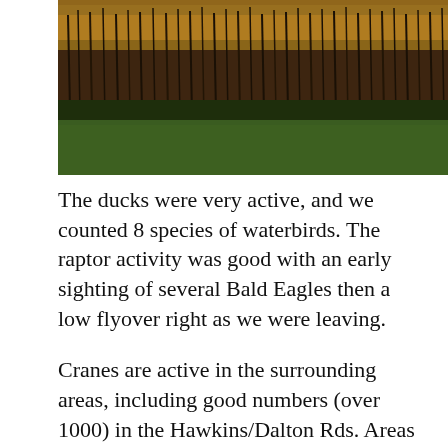[Figure (photo): Outdoor wetland/marsh landscape photograph showing tall dried grasses and reeds in the background with golden-brown tops lit by low sunlight, and a green grassy field in the foreground. Dark tones overall with warm light on the horizon vegetation.]
The ducks were very active, and we counted 8 species of waterbirds.  The raptor activity was good with an early sighting of several Bald Eagles then a low flyover right as we were leaving.
Cranes are active in the surrounding areas, including good numbers (over 1000) in the Hawkins/Dalton Rds. Areas west of the Sanctuary.
Crane counters:   Ross Green, Gary Siegrist, Don & Bobby Harthorn and Conaway...